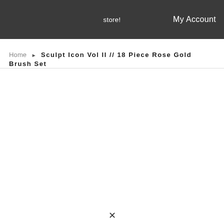store!   My Account
Home  ▶  Sculpt Icon Vol II // 18 Piece Rose Gold Brush Set